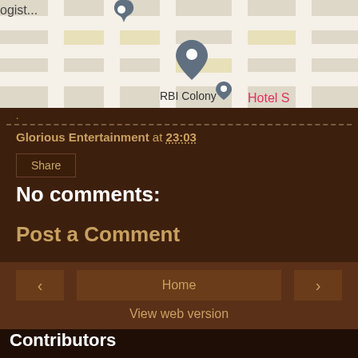[Figure (map): Street map showing RBI Colony with a location pin, partial text 'ogist...' and 'Hotel S' visible]
.
Glorious Entertainment at 23:03
Share
No comments:
Post a Comment
Home
View web version
Contributors
Chandrasekhar